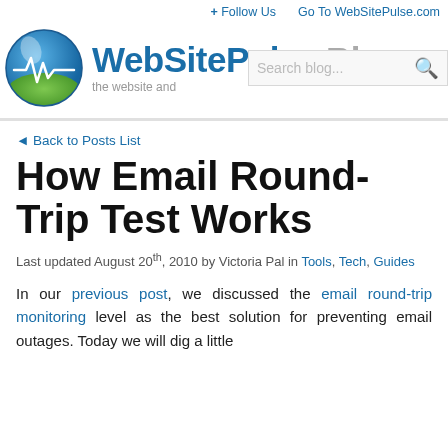+ Follow Us   Go To WebSitePulse.com
[Figure (logo): WebSitePulse logo: circular icon with blue and green colors and a heartbeat/pulse line, followed by bold text 'WebSitePulse Blog']
the website and
Search blog...
◄ Back to Posts List
How Email Round-Trip Test Works
Last updated August 20th, 2010 by Victoria Pal in Tools, Tech, Guides
In our previous post, we discussed the email round-trip monitoring level as the best solution for preventing email outages. Today we will dig a little